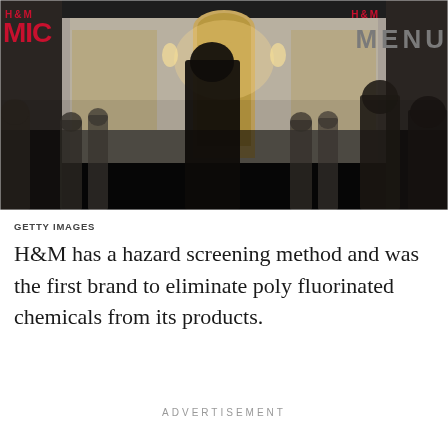[Figure (photo): Street-level photo of shoppers walking past an H&M store facade at night, with illuminated entrance and motion blur on the crowd. H&M logo visible top left, MENU text top right.]
GETTY IMAGES
H&M has a hazard screening method and was the first brand to eliminate poly fluorinated chemicals from its products.
ADVERTISEMENT